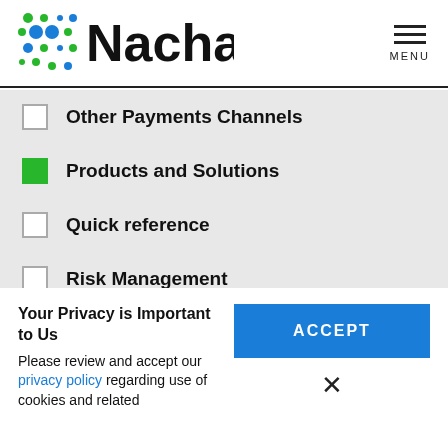[Figure (logo): Nacha logo with colorful dot grid and bold Nacha wordmark]
Other Payments Channels (unchecked)
Products and Solutions (checked, green)
Quick reference (unchecked)
Risk Management (unchecked)
Rules Compliance (unchecked)
Your Privacy is Important to Us
Please review and accept our privacy policy regarding use of cookies and related
ACCEPT